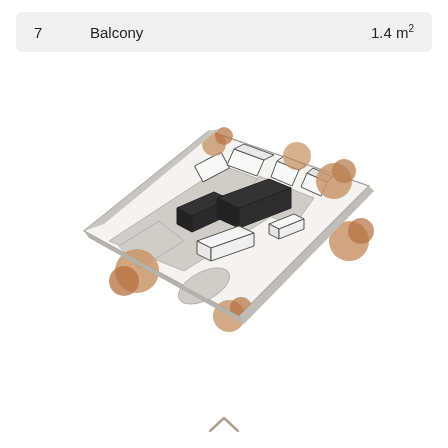| # | Name | Area |
| --- | --- | --- |
| 7 | Balcony | 1.4 m² |
[Figure (engineering-diagram): Isometric architectural site plan showing a residential or mixed-use development with buildings (some dark/black volumes), roads, parking areas, and stylized trees in a warm tan/copper color. The layout shows building footprints arranged along internal drives within a roughly trapezoidal site boundary.]
[Figure (other): A chevron/caret (up-arrow) navigation icon at the bottom center of the page.]